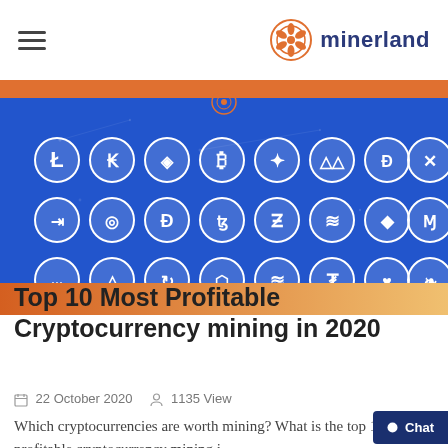minerland
[Figure (illustration): Banner image showing cryptocurrency logos (Litecoin, Cardano, Augur, Bitcoin, Binance Coin, Verge, Dash, Ripple, Zcoin, Ethereum Classic, Dogecoin, Tezos, Zcash, Steem, Ethereum, Monero, Cardano, Ark, Ark clone, Mason, Steem clone, Tether, Particl, Feathercoin) arranged in 3 rows on a blue background with network pattern, with an orange/peach gradient strip below.]
Top 10 Most Profitable Cryptocurrency mining in 2020
22 October 2020   1135 View
Which cryptocurrencies are worth mining? What is the top 10 most profitable cryptocurrency mining i...